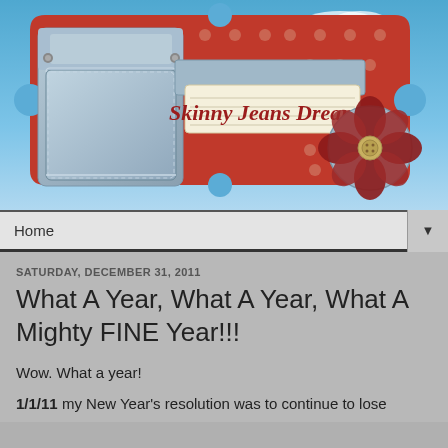[Figure (illustration): Blog header banner for 'Skinny Jeans Dreams' blog. Features a decorative badge shape with red polka-dot fabric background, a denim jeans pocket on the left, a cream-colored ribbon banner in the center with 'Skinny Jeans Dreams' in red cursive text, and a red fabric flower with a button center on the right. Sky blue background behind the badge.]
Home
SATURDAY, DECEMBER 31, 2011
What A Year, What A Year, What A Mighty FINE Year!!!
Wow. What a year!
1/1/11 my New Year's resolution was to continue to lose